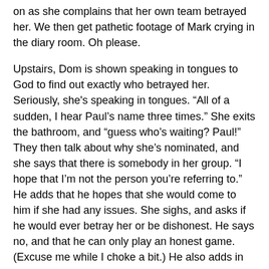on as she complains that her own team betrayed her. We then get pathetic footage of Mark crying in the diary room. Oh please.
Upstairs, Dom is shown speaking in tongues to God to find out exactly who betrayed her. Seriously, she's speaking in tongues. “All of a sudden, I hear Paul’s name three times.” She exits the bathroom, and “guess who’s waiting? Paul!” They then talk about why she’s nominated, and she says that there is somebody in her group. “I hope that I’m not the person you’re referring to.” He adds that he hopes that she would come to him if she had any issues. She sighs, and asks if he would ever betray her or be dishonest. He says no, and that he can only play an honest game. (Excuse me while I choke a bit.) He also adds in the diary room that he is definitely playing a more sneaky game this season.) He then tells Dom that they may just have to disband their group. She then tells him that God has been advising her, and that He will help her expose the person who betrayed her.
With that, it’s time to pick players for the POV. Alex pulls Kevin’s name, Dom gets Christmas, and Jessica gets Houseguest Choice and she uses Jason. She says that she has a settling to do.